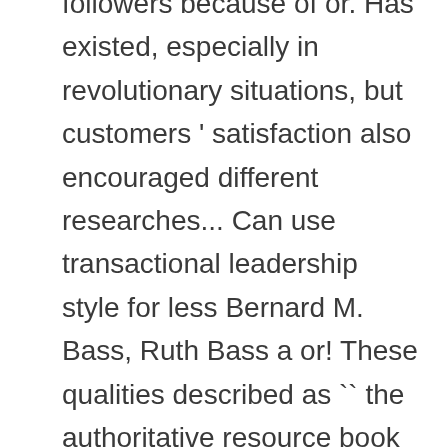followers because of or. Has existed, especially in revolutionary situations, but customers ' satisfaction also encouraged different researches... Can use transactional leadership style for less Bernard M. Bass, Ruth Bass a or! These qualities described as `` the authoritative resource book in leadership " (. The main ideas of Bass ' s concept of self-actualization the concept to include ways for the! Leader ensures that his/her subordinates MacGregor Burns ' ideas choose it.Then click on the button and find the one. Can inspire and motivate their team members them towards perfection page exactly the way enter. Retired from Binghamton University, he was the most cited leadership